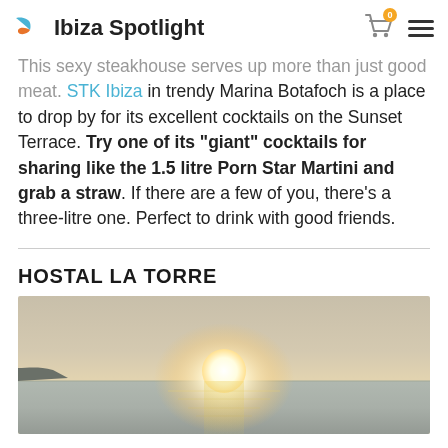Ibiza Spotlight
This sexy steakhouse serves up more than just good meat. STK Ibiza in trendy Marina Botafoch is a place to drop by for its excellent cocktails on the Sunset Terrace. Try one of its "giant" cocktails for sharing like the 1.5 litre Porn Star Martini and grab a straw. If there are a few of you, there's a three-litre one. Perfect to drink with good friends.
HOSTAL LA TORRE
[Figure (photo): Sunset over the sea with a glowing sun on the horizon and calm water reflecting golden light]